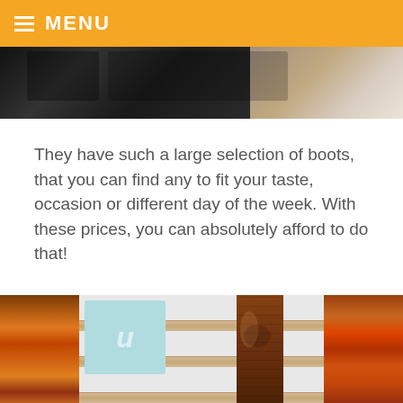MENU
[Figure (photo): Top portion of a shoe store display showing dark shoes/boots on the left and lighter footwear on the right]
They have such a large selection of boots, that you can find any to fit your taste, occasion or different day of the week. With these prices, you can absolutely afford to do that!
[Figure (photo): Shoe store display with slatwall shelving showing a brown leather tall boot in the center, a store sign on the left, and colorful shoe displays on the sides]